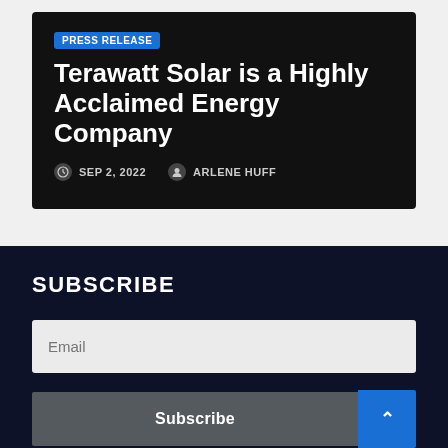PRESS RELEASE
Terawatt Solar is a Highly Acclaimed Energy Company
SEP 2, 2022  ARLENE HUFF
SUBSCRIBE
Email
Subscribe